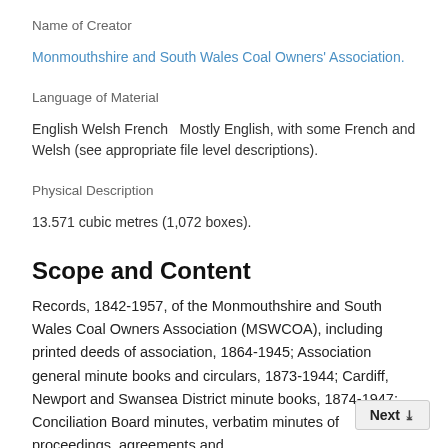Name of Creator
Monmouthshire and South Wales Coal Owners' Association.
Language of Material
English Welsh French  Mostly English, with some French and Welsh (see appropriate file level descriptions).
Physical Description
13.571 cubic metres (1,072 boxes).
Scope and Content
Records, 1842-1957, of the Monmouthshire and South Wales Coal Owners Association (MSWCOA), including printed deeds of association, 1864-1945; Association general minute books and circulars, 1873-1944; Cardiff, Newport and Swansea District minute books, 1874-1947; Conciliation Board minutes, verbatim minutes of proceedings, agreements and